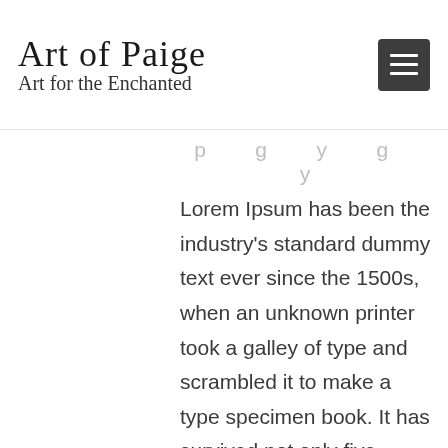Art of Paige — Art for the Enchanted
Lorem Ipsum has been the industry's standard dummy text ever since the 1500s, when an unknown printer took a galley of type and scrambled it to make a type specimen book. It has survived not only five centuries, but also the leap into electronic typesetting, remaining essentially unchanged. It was popularised in the 1960s with the release of Letraset sheets containing Lorem Ipsum passages, and more recently with desktop publishing software like Aldus PageMaker including versions of Lorem